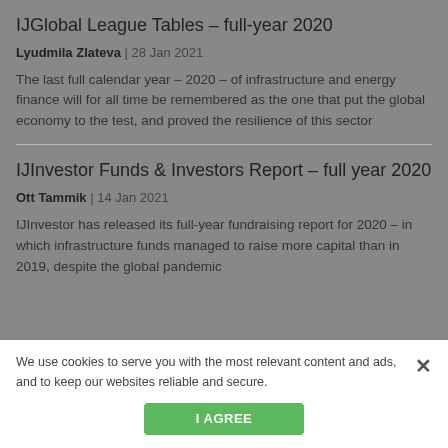IJGlobal League Tables – full-year 2020
Lyudmila Zlateva | 28 Jan 2021
The last full calendar year – 2020 – of infrastructure and energy finance will for all time be remembered as the one that put the global economy to the test, and proved the resilience of this sector
IJInvestor Funds & Investors Report – full year 2020
Ott Tammik | 14 Jan 2021
IJInvestor has released its full-year fundraising report for 2020 – in which infrastructure funds managed to raise more capital than in 2019, despite the global pandemic
We use cookies to serve you with the most relevant content and ads, and to keep our websites reliable and secure.